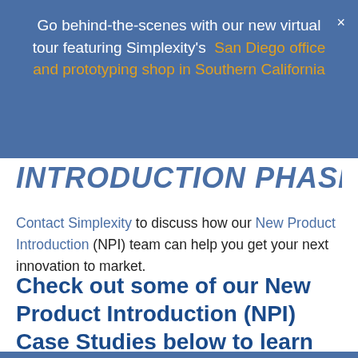Go behind-the-scenes with our new virtual tour featuring Simplexity's San Diego office and prototyping shop in Southern California
INTRODUCTION PHASES!
Contact Simplexity to discuss how our New Product Introduction (NPI) team can help you get your next innovation to market.
Check out some of our New Product Introduction (NPI) Case Studies below to learn more!